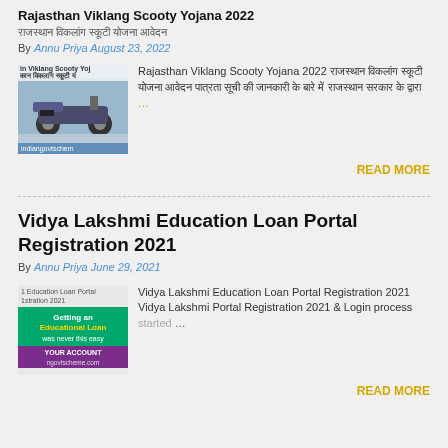Rajasthan Viklang Scooty Yojana 2022 (Hindi)
By Annu Priya August 23, 2022
[Figure (photo): Thumbnail image of a scooty with text 'in Viklang Scooty Yoj' and 'indiangovtscheme']
Rajasthan Viklang Scooty Yojana 2022 (Hindi excerpt about the scheme)...
READ MORE
Vidya Lakshmi Education Loan Portal Registration 2021
By Annu Priya June 29, 2021
[Figure (photo): Thumbnail image for Vidya Lakshmi Education Loan Portal Registration 2021 with 'Getting an Educational Loan was never this easy' text]
Vidya Lakshmi Education Loan Portal Registration 2021 Vidya Lakshmi Portal Registration 2021 & Login process started ...
READ MORE